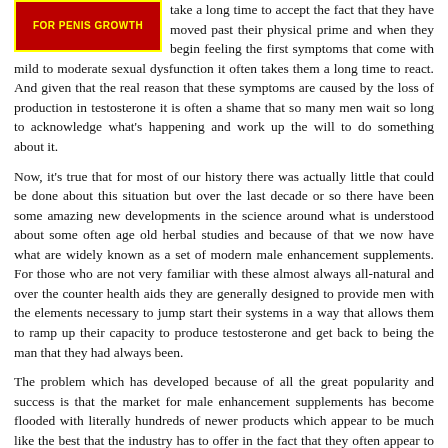[Figure (other): Advertisement banner for penis growth product, red background with bold text]
take a long time to accept the fact that they have moved past their physical prime and when they begin feeling the first symptoms that come with mild to moderate sexual dysfunction it often takes them a long time to react. And given that the real reason that these symptoms are caused by the loss of production in testosterone it is often a shame that so many men wait so long to acknowledge what's happening and work up the will to do something about it.
Now, it's true that for most of our history there was actually little that could be done about this situation but over the last decade or so there have been some amazing new developments in the science around what is understood about some often age old herbal studies and because of that we now have what are widely known as a set of modern male enhancement supplements. For those who are not very familiar with these almost always all-natural and over the counter health aids they are generally designed to provide men with the elements necessary to jump start their systems in a way that allows them to ramp up their capacity to produce testosterone and get back to being the man that they had always been.
The problem which has developed because of all the great popularity and success is that the market for male enhancement supplements has become flooded with literally hundreds of newer products which appear to be much like the best that the industry has to offer in the fact that they often appear to have all the same basic ingredients and make all the same claims. The issue is that many of these products have been shown to be less effective than the top performers out there today.
With this being the case we, as part of our ongoing efforts to help our many valued readers find the products that will most likely work well for them, have decided to take a long hard look at one of the most talked about male enhancements supplements available on the market today - it's called Elite Test